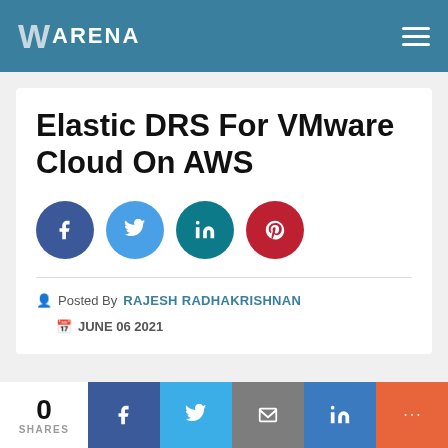VARENA
Elastic DRS For VMware Cloud On AWS
Posted By RAJESH RADHAKRISHNAN  JUNE 06 2021
0 SHARES